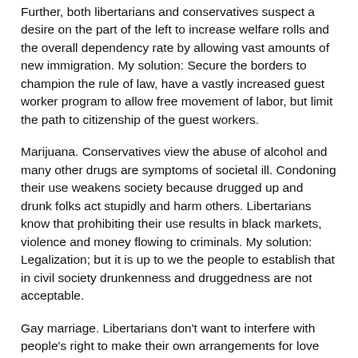Further, both libertarians and conservatives suspect a desire on the part of the left to increase welfare rolls and the overall dependency rate by allowing vast amounts of new immigration. My solution: Secure the borders to champion the rule of law, have a vastly increased guest worker program to allow free movement of labor, but limit the path to citizenship of the guest workers.
Marijuana. Conservatives view the abuse of alcohol and many other drugs are symptoms of societal ill. Condoning their use weakens society because drugged up and drunk folks act stupidly and harm others. Libertarians know that prohibiting their use results in black markets, violence and money flowing to criminals. My solution: Legalization; but it is up to we the people to establish that in civil society drunkenness and druggedness are not acceptable.
Gay marriage. Libertarians don't want to interfere with people's right to make their own arrangements for love and economic union, so gay marriage isn't a problem for them. Conservative objections primarily rely on tradition and religion. However, those arguments are legitimate...